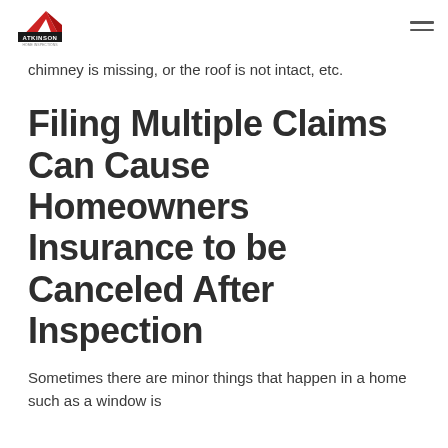Atkinson Insurance
chimney is missing, or the roof is not intact, etc.
Filing Multiple Claims Can Cause Homeowners Insurance to be Canceled After Inspection
Sometimes there are minor things that happen in a home such as a window is